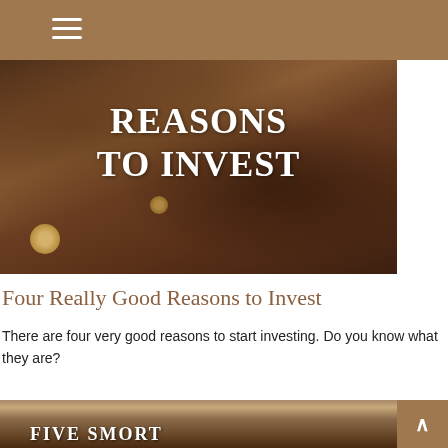[Figure (photo): Close-up photograph of dark soil/dirt with small glowing bokeh orbs, serving as hero background image for an article about reasons to invest]
REASONS TO INVEST
Four Really Good Reasons to Invest
There are four very good reasons to start investing. Do you know what they are?
[Figure (photo): Photograph of a tablet device being held, with partial text overlay at the bottom of the page]